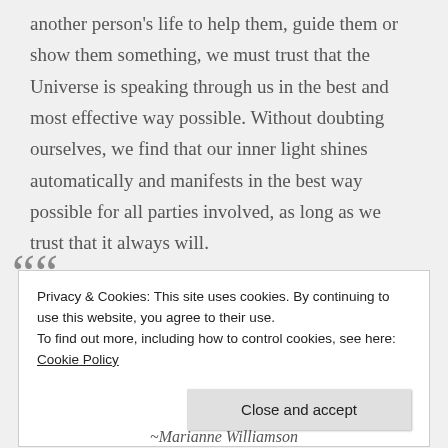another person's life to help them, guide them or show them something, we must trust that the Universe is speaking through us in the best and most effective way possible. Without doubting ourselves, we find that our inner light shines automatically and manifests in the best way possible for all parties involved, as long as we trust that it always will.
““
Privacy & Cookies: This site uses cookies. By continuing to use this website, you agree to their use. To find out more, including how to control cookies, see here: Cookie Policy
Close and accept
~Marianne Williamson